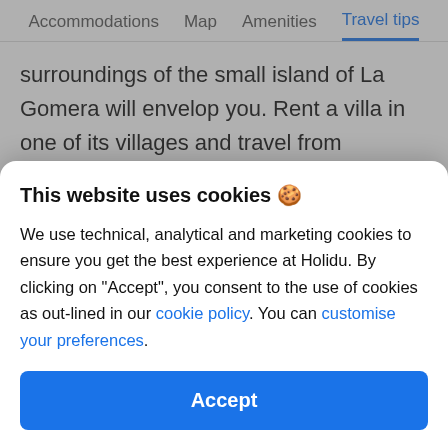Accommodations  Map  Amenities  Travel tips
surroundings of the small island of La Gomera will envelop you. Rent a villa in one of its villages and travel from landscape to landscape, through palm-filled valleys, deep gorges, and hidden coves with
This website uses cookies 🍪
We use technical, analytical and marketing cookies to ensure you get the best experience at Holidu. By clicking on "Accept", you consent to the use of cookies as out-lined in our cookie policy. You can customise your preferences.
Accept